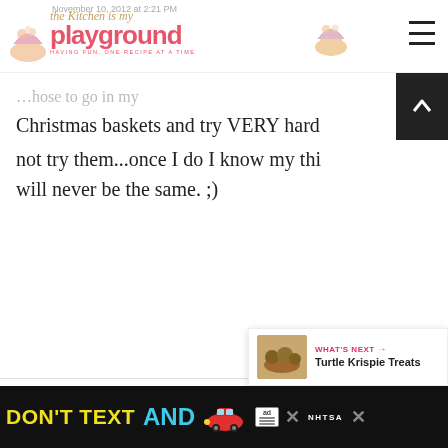the Kitchen is my playground — November 10, 2012 at 2:21 PM
Christmas baskets and try VERY hard not try them...once I do I know my thi will never be the same. ;)
Reply
Shannon
November 11, 2012 at 4:01 AM
OHH sooo excited! Do y macadamia nuts would work ok instead of
[Figure (screenshot): DON'T TEXT AND [car emoji] ad banner with ad badge and NHTSA logo at bottom of page]
[Figure (infographic): What's Next panel showing Turtle Krispie Treats thumbnail with arrow]